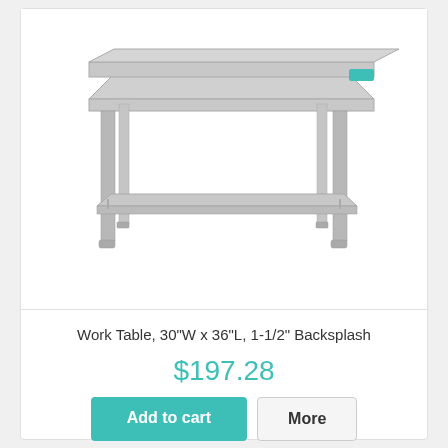[Figure (photo): Stainless steel work table with backsplash, undershelf, and four legs]
Work Table, 30"W x 36"L, 1-1/2" Backsplash
$197.28
Add to cart
More